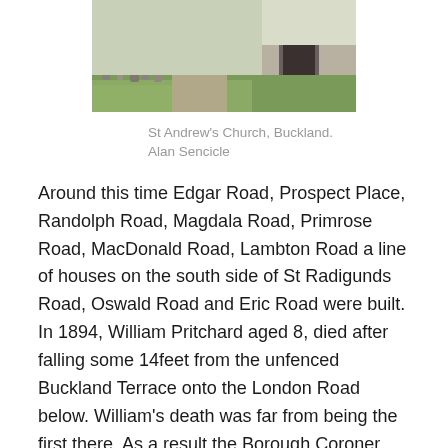[Figure (photo): Photograph of St Andrew's Church, Buckland, showing a stone church building with arched entrance, green lawns, and gravestones in the foreground]
St Andrew's Church, Buckland.
Alan Sencicle
Around this time Edgar Road, Prospect Place, Randolph Road, Magdala Road, Primrose Road, MacDonald Road, Lambton Road a line of houses on the south side of St Radigunds Road, Oswald Road and Eric Road were built. In 1894, William Pritchard aged 8, died after falling some 14feet from the unfenced Buckland Terrace onto the London Road below. William's death was far from being the first there. As a result the Borough Coroner, Sydenham Payn, told the council to take responsibility for fencing the Terrace. Eventually, besides the fence and the bus shelter we see today, a room with a lavatory was excavated and